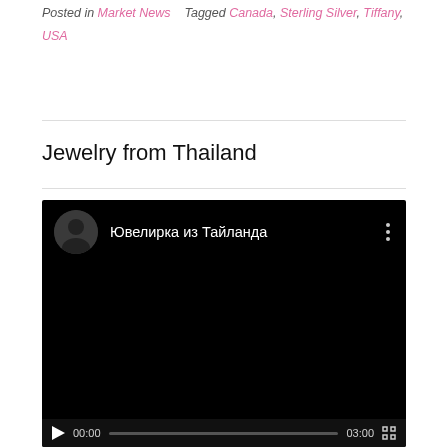Posted in Market News   Tagged Canada, Sterling Silver, Tiffany, USA
Jewelry from Thailand
[Figure (screenshot): Embedded video player showing a YouTube-style video with Russian text 'Ювелирка из Тайланда' (Jewelry from Thailand), black background, channel avatar, play button, progress bar showing 00:00 / 03:00]